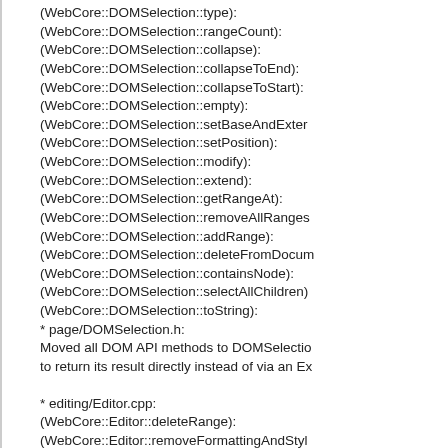(WebCore::DOMSelection::type):
(WebCore::DOMSelection::rangeCount):
(WebCore::DOMSelection::collapse):
(WebCore::DOMSelection::collapseToEnd):
(WebCore::DOMSelection::collapseToStart):
(WebCore::DOMSelection::empty):
(WebCore::DOMSelection::setBaseAndExter
(WebCore::DOMSelection::setPosition):
(WebCore::DOMSelection::modify):
(WebCore::DOMSelection::extend):
(WebCore::DOMSelection::getRangeAt):
(WebCore::DOMSelection::removeAllRanges
(WebCore::DOMSelection::addRange):
(WebCore::DOMSelection::deleteFromDocum
(WebCore::DOMSelection::containsNode):
(WebCore::DOMSelection::selectAllChildren)
(WebCore::DOMSelection::toString):
* page/DOMSelection.h:
Moved all DOM API methods to DOMSelectio
to return its result directly instead of via an Ex
* editing/Editor.cpp:
(WebCore::Editor::deleteRange):
(WebCore::Editor::removeFormattingAndStyl
(WebCore::Editor::selectComposition):
(WebCore::Editor::setComposition):
* html/HTMLInputElement.cpp: (WebCore::H
Adapted for SelectionController::setSelectedR
SelectionController::toString() is no longer av